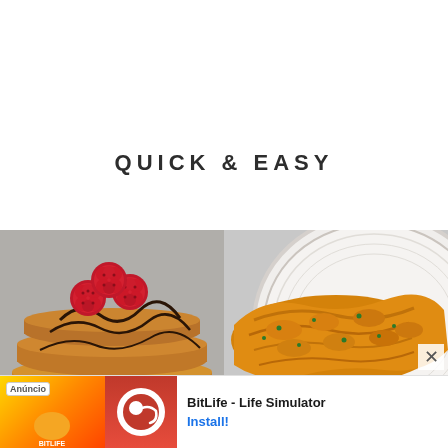QUICK & EASY
[Figure (photo): Stack of pancakes topped with fresh raspberries and chocolate drizzle on a grey background]
[Figure (photo): Golden omelette with herbs on a white plate, partially visible]
[Figure (other): Advertisement banner: Anúncio label, colorful game graphic on left, BitLife app icon in red, text 'BitLife - Life Simulator' with 'Install!' button in blue]